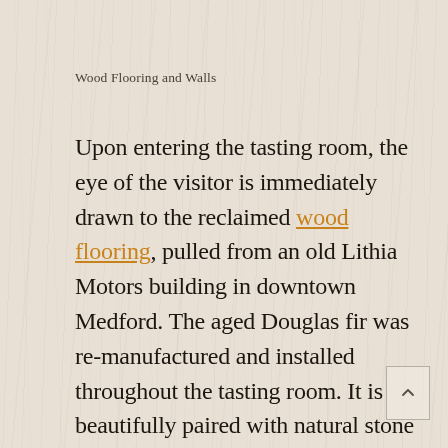Wood Flooring and Walls
Upon entering the tasting room, the eye of the visitor is immediately drawn to the reclaimed wood flooring, pulled from an old Lithia Motors building in downtown Medford. The aged Douglas fir was re-manufactured and installed throughout the tasting room. It is beautifully paired with natural stone walls. All the stone was taken from the fields where the vineyard currently stands. The goal of using the stones was to create a cosy, cottage-like feel in the tasting room.